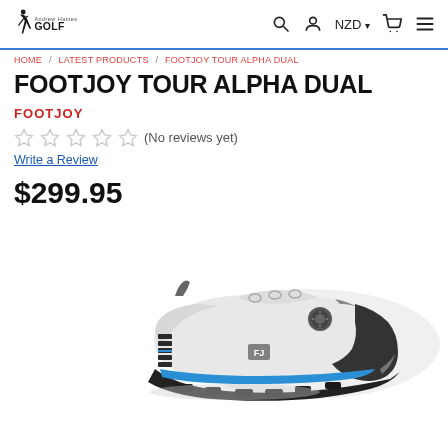Andrew Haines GOLF | NZD | Search | Account | Cart | Menu
HOME / LATEST PRODUCTS / FOOTJOY TOUR ALPHA DUAL
FOOTJOY TOUR ALPHA DUAL
FOOTJOY
(No reviews yet)
Write a Review
$299.95
[Figure (photo): FootJoy Tour Alpha Dual golf shoe in white/grey/black with blue accent stripe, BOA lacing system, shown from the side]